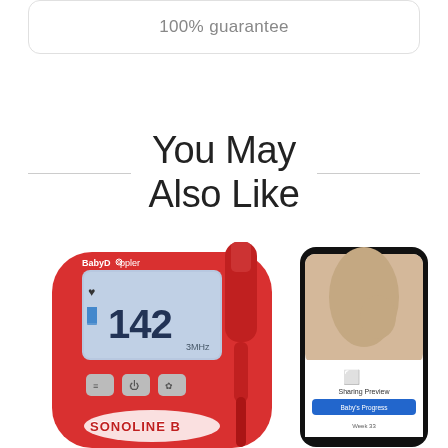100% guarantee
You May Also Like
[Figure (photo): Product photo showing a red BabyDoppler SONOLINE B fetal heart rate monitor device displaying 142 BPM, alongside a smartphone showing a pregnancy app with a sharing preview screen and a pregnant woman's belly image.]